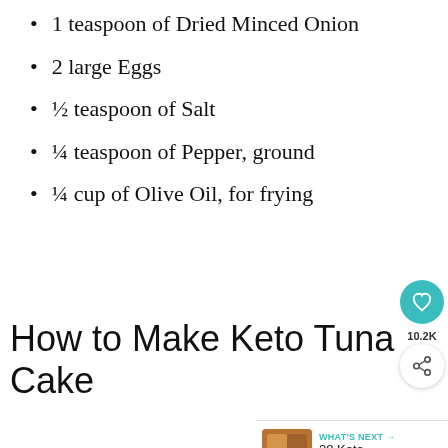1 teaspoon of Dried Minced Onion
2 large Eggs
½ teaspoon of Salt
¼ teaspoon of Pepper, ground
¼ cup of Olive Oil, for frying
How to Make Keto Tuna Cake
[Figure (other): Heart/like button (teal circle with heart icon), share button with count label 10.2K, and What's Next panel showing 28 Keto Chicken...]